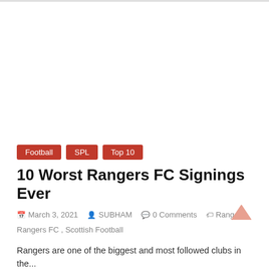[Figure (other): Advertisement/blank white area at top of article page]
Football   SPL   Top 10
10 Worst Rangers FC Signings Ever
March 3, 2021   SUBHAM   0 Comments   Rangers, Rangers FC, Scottish Football
Rangers are one of the biggest and most followed clubs in the...